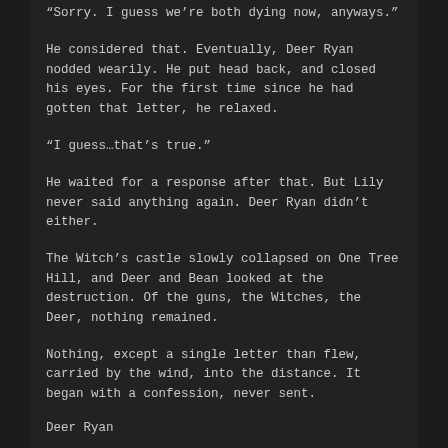“Sorry. I guess we’re both dying now, anyways.”
He considered that. Eventually, Deer Ryan nodded wearily. He put head back, and closed his eyes. For the first time since he had gotten that letter, he relaxed.
“I guess…that’s true.”
He waited for a response after that. But Lily never said anything again. Deer Ryan didn’t either.
The Witch’s castle slowly collapsed on One Tree Hill, and Deer and Bean looked at the destruction. Of the guns, the Witches, the Deer, nothing remained.
Nothing, except a single letter than flew, carried by the wind, into the distance. It began with a confession, never sent.
Deer Ryan